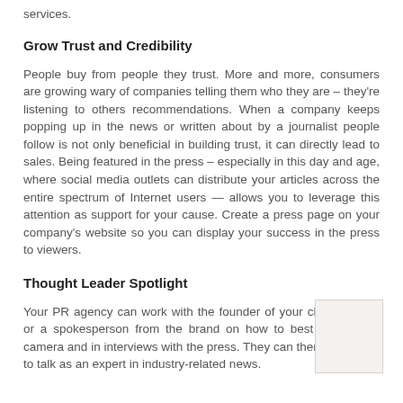services.
Grow Trust and Credibility
People buy from people they trust. More and more, consumers are growing wary of companies telling them who they are – they're listening to others recommendations. When a company keeps popping up in the news or written about by a journalist people follow is not only beneficial in building trust, it can directly lead to sales. Being featured in the press – especially in this day and age, where social media outlets can distribute your articles across the entire spectrum of Internet users — allows you to leverage this attention as support for your cause. Create a press page on your company's website so you can display your success in the press to viewers.
Thought Leader Spotlight
Your PR agency can work with the founder of your client's brand or a spokesperson from the brand on how to best present on camera and in interviews with the press. They can then pitch them to talk as an expert in industry-related news.